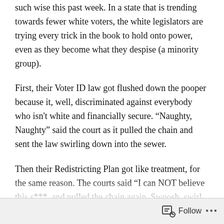such wise this past week. In a state that is trending towards fewer white voters, the white legislators are trying every trick in the book to hold onto power, even as they become what they despise (a minority group).
First, their Voter ID law got flushed down the pooper because it, well, discriminated against everybody who isn't white and financially secure. “Naughty, Naughty” said the court as it pulled the chain and sent the law swirling down into the sewer.
Then their Redistricting Plan got like treatment, for the same reason. The courts said “I can NOT believe this s***, and pulled the chain again. Swoosh, swirl, buh-bye to the crooked white guy laws.
This is yet another example of the corrosive effects of
Follow